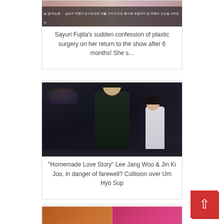[Figure (photo): Thumbnail image related to Sayuri Fujita plastic surgery story with Korean text overlay at bottom]
Sayuri Fujita's sudden confession of plastic surgery on her return to the show after 6 months! She s...
[Figure (photo): Dark nighttime scene from Korean drama Homemade Love Story, showing a man in dark jacket standing in foreground with a woman in white outfit visible behind him]
"Homemade Love Story" Lee Jang Woo & Jin Ki Joo, in danger of farewell? Collision over Um Hyo Sup
[Figure (photo): Four-panel K-pop performance screenshots showing idol groups on stage with colorful lighting]